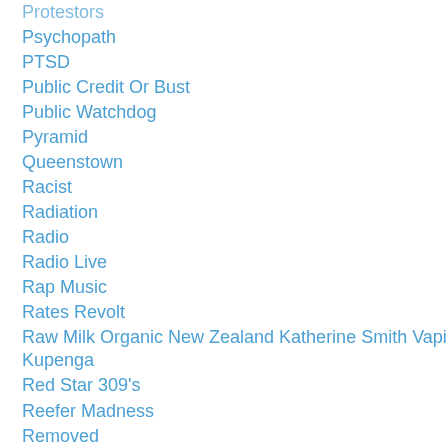Protestors
Psychopath
PTSD
Public Credit Or Bust
Public Watchdog
Pyramid
Queenstown
Racist
Radiation
Radio
Radio Live
Rap Music
Rates Revolt
Raw Milk Organic New Zealand Katherine Smith Vapi Kupenga
Red Star 309's
Reefer Madness
Removed
Reptilians
Resignation
Resistance
Richard Gage